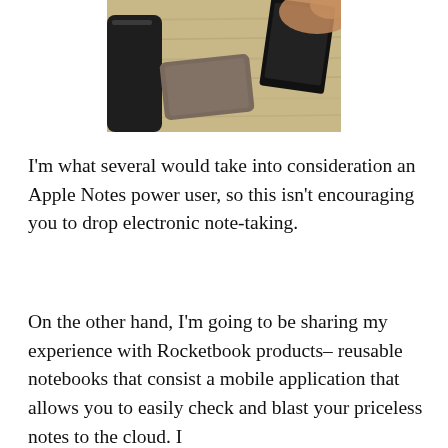[Figure (photo): Photo of a wooden table surface with a dark bag on the left, a grey cloth pouch in the center, a black notebook/tablet in the upper right, and a hand holding it from the top right corner.]
I'm what several would take into consideration an Apple Notes power user, so this isn't encouraging you to drop electronic note-taking.
On the other hand, I'm going to be sharing my experience with Rocketbook products– reusable notebooks that consist a mobile application that allows you to easily check and blast your priceless notes to the cloud. I